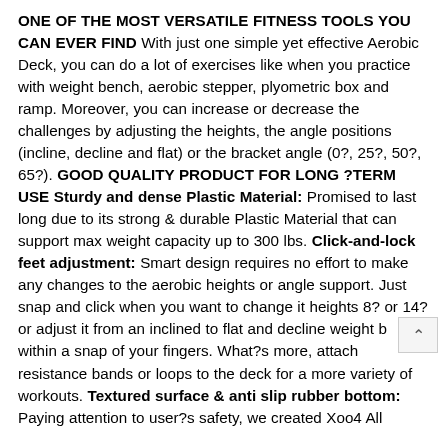ONE OF THE MOST VERSATILE FITNESS TOOLS YOU CAN EVER FIND With just one simple yet effective Aerobic Deck, you can do a lot of exercises like when you practice with weight bench, aerobic stepper, plyometric box and ramp. Moreover, you can increase or decrease the challenges by adjusting the heights, the angle positions (incline, decline and flat) or the bracket angle (0?, 25?, 50?, 65?). GOOD QUALITY PRODUCT FOR LONG ?TERM USE Sturdy and dense Plastic Material: Promised to last long due to its strong & durable Plastic Material that can support max weight capacity up to 300 lbs. Click-and-lock feet adjustment: Smart design requires no effort to make any changes to the aerobic heights or angle support. Just snap and click when you want to change it heights 8? or 14? or adjust it from an inclined to flat and decline weight b within a snap of your fingers. What?s more, attach resistance bands or loops to the deck for a more variety of workouts. Textured surface & anti slip rubber bottom: Paying attention to user?s safety, we created Xoo4 All...